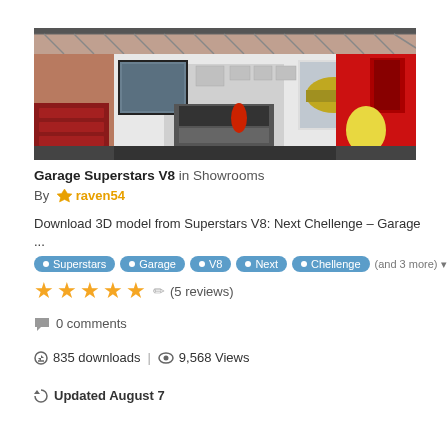[Figure (screenshot): 3D rendered garage interior from Superstars V8 game, showing a racing team garage with red toolboxes, racing cars on screens, and a yellow balloon]
Garage Superstars V8 in Showrooms
By raven54
Download 3D model from Superstars V8: Next Chellenge – Garage
...
Superstars  Garage  V8  Next  Chellenge  (and 3 more)
★★★★★ (5 reviews)
0 comments
835 downloads | 9,568 Views
Updated August 7